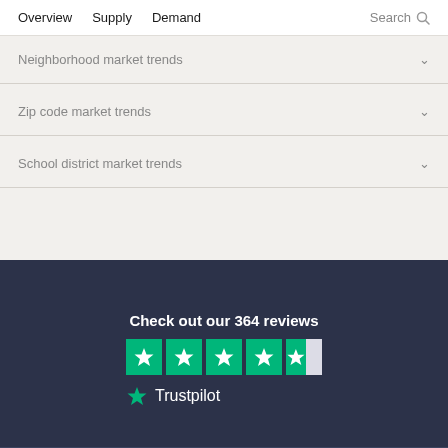Overview  Supply  Demand  Search
Neighborhood market trends
Zip code market trends
School district market trends
Check out our 364 reviews
[Figure (other): Trustpilot 4.5 out of 5 stars rating with green star boxes and Trustpilot logo]
Trustpilot